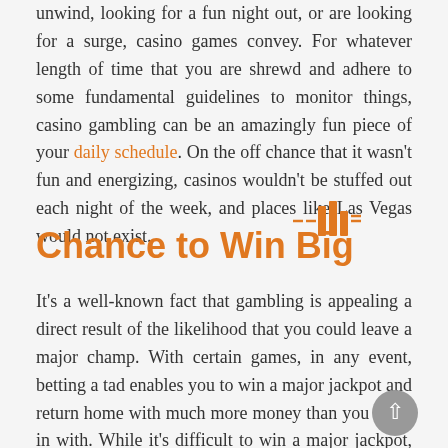unwind, looking for a fun night out, or are looking for a surge, casino games convey. For whatever length of time that you are shrewd and adhere to some fundamental guidelines to monitor things, casino gambling can be an amazingly fun piece of your daily schedule. On the off chance that it wasn't fun and energizing, casinos wouldn't be stuffed out each night of the week, and places like Las Vegas would not exist.
[Figure (illustration): Small decorative bar chart icon in orange color]
Chance to Win Big
It's a well-known fact that gambling is appealing a direct result of the likelihood that you could leave a major champ. With certain games, in any event, betting a tad enables you to win a major jackpot and return home with much more money than you came in with. While it's difficult to win a major jackpot, somebody needs to win them and that somebody could be you. This plausibility is sufficient to get the energy streaming and keep individuals returning for additional. In the event that there